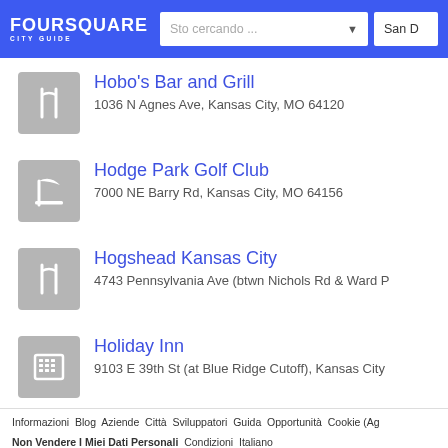FOURSQUARE CITY GUIDE — search bar — San D...
Hobo's Bar and Grill
1036 N Agnes Ave, Kansas City, MO 64120
Hodge Park Golf Club
7000 NE Barry Rd, Kansas City, MO 64156
Hogshead Kansas City
4743 Pennsylvania Ave (btwn Nichols Rd & Ward P...
Holiday Inn
9103 E 39th St (at Blue Ridge Cutoff), Kansas City...
Informazioni  Blog  Aziende  Città  Sviluppatori  Guida  Opportunità  Cookie (Ag...  Non Vendere I Miei Dati Personali  Condizioni  Italiano
Città: Atlanta  Austin  Boston  Chicago  Dallas  Denver  Houston  Las Vegas  ...